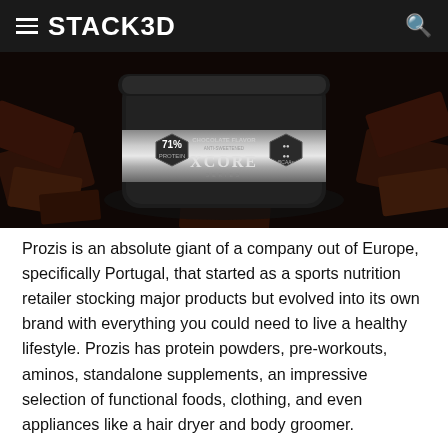STACK3D
[Figure (photo): Product photo of XCORE protein powder container in chocolate flavor (71% protein, BCAAs) surrounded by chocolate pieces on a dark background]
Prozis is an absolute giant of a company out of Europe, specifically Portugal, that started as a sports nutrition retailer stocking major products but evolved into its own brand with everything you could need to live a healthy lifestyle. Prozis has protein powders, pre-workouts, aminos, standalone supplements, an impressive selection of functional foods, clothing, and even appliances like a hair dryer and body groomer.
Prozis has now brought its heavily vertically-integrated, everything approach to the US market by way of a separate